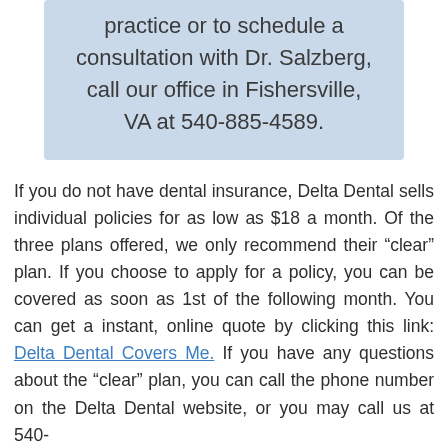practice or to schedule a consultation with Dr. Salzberg, call our office in Fishersville, VA at 540-885-4589.
If you do not have dental insurance, Delta Dental sells individual policies for as low as $18 a month. Of the three plans offered, we only recommend their “clear” plan. If you choose to apply for a policy, you can be covered as soon as 1st of the following month. You can get a instant, online quote by clicking this link: Delta Dental Covers Me. If you have any questions about the “clear” plan, you can call the phone number on the Delta Dental website, or you may call us at 540-